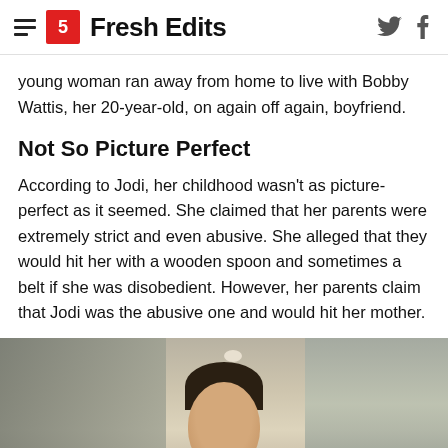Fresh Edits
young woman ran away from home to live with Bobby Wattis, her 20-year-old, on again off again, boyfriend.
Not So Picture Perfect
According to Jodi, her childhood wasn't as picture-perfect as it seemed. She claimed that her parents were extremely strict and even abusive. She alleged that they would hit her with a wooden spoon and sometimes a belt if she was disobedient. However, her parents claim that Jodi was the abusive one and would hit her mother.
[Figure (photo): Old photograph of a young woman with dark hair pulled back, wearing a white bow or hair accessory, posed in a room with papers on the wall and items on a shelf in the background.]